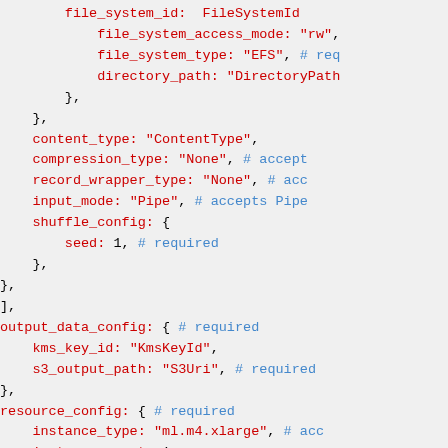Code snippet showing YAML/JSON configuration with file_system_id, file_system_access_mode, file_system_type, directory_path, content_type, compression_type, record_wrapper_type, input_mode, shuffle_config, output_data_config, resource_config fields